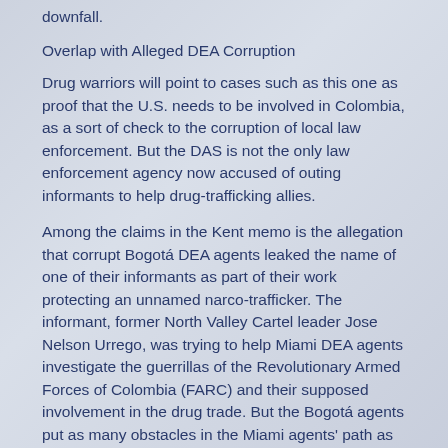downfall.
Overlap with Alleged DEA Corruption
Drug warriors will point to cases such as this one as proof that the U.S. needs to be involved in Colombia, as a sort of check to the corruption of local law enforcement. But the DAS is not the only law enforcement agency now accused of outing informants to help drug-trafficking allies.
Among the claims in the Kent memo is the allegation that corrupt Bogotá DEA agents leaked the name of one of their informants as part of their work protecting an unnamed narco-trafficker. The informant, former North Valley Cartel leader Jose Nelson Urrego, was trying to help Miami DEA agents investigate the guerrillas of the Revolutionary Armed Forces of Colombia (FARC) and their supposed involvement in the drug trade. But the Bogotá agents put as many obstacles in the Miami agents' path as possible, eventually revealing him as an informant. As Bill Conroy reported in February:
Not only was Urrego in a position to reveal intimate details about the operations of Colombian drug traffickers, including possibly any links they might have to the allegedly corrupt DEA agents in Colombia, but he also could have opened up a can of